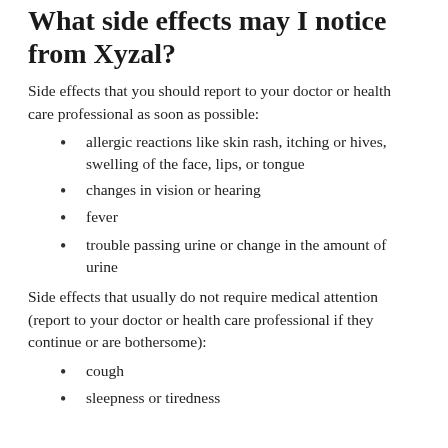What side effects may I notice from Xyzal?
Side effects that you should report to your doctor or health care professional as soon as possible:
allergic reactions like skin rash, itching or hives, swelling of the face, lips, or tongue
changes in vision or hearing
fever
trouble passing urine or change in the amount of urine
Side effects that usually do not require medical attention (report to your doctor or health care professional if they continue or are bothersome):
cough
sleepness or tiredness